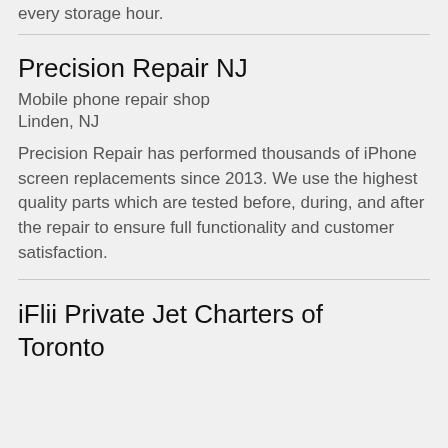every storage hour.
Precision Repair NJ
Mobile phone repair shop
Linden, NJ
Precision Repair has performed thousands of iPhone screen replacements since 2013. We use the highest quality parts which are tested before, during, and after the repair to ensure full functionality and customer satisfaction.
iFlii Private Jet Charters of Toronto